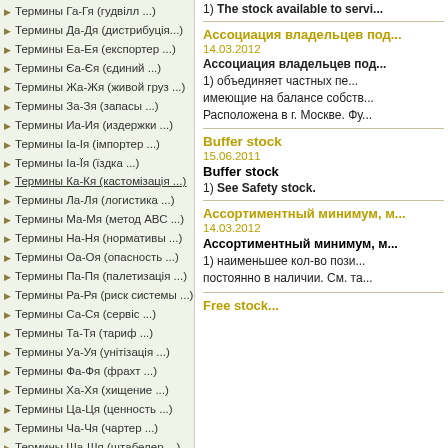Термины Га-Гя (гудвілл ...)
Термины Да-Дя (дистрибуція...)
Термины Еа-Ея (експортер ...)
Термины Єа-Єя (єдиний ...)
Термины Жа-Жя (живой груз ...)
Термины За-Зя (запасы ...)
Термины Иа-Ия (издержки ...)
Термины Іа-Ія (імпортер ...)
Термины Іа-Їя (їздка ...)
Термины Ка-Кя (кастомізація ...)
Термины Ла-Ля (логистика ...)
Термины Ма-Мя (метод АВС ...)
Термины На-Ня (нормативы ...)
Термины Оа-Оя (опасность ...)
Термины Па-Пя (палетизація ...)
Термины Ра-Ря (риск системы ...)
Термины Са-Ся (сервіс ...)
Термины Та-Тя (тариф ...)
Термины Уа-Уя (унітізація ...)
Термины Фа-Фя (фрахт ...)
Термины Ха-Хя (хищение ...)
Термины Ца-Ця (ценность ...)
Термины Ча-Чя (чартер ...)
Термины Ша-Шя (штабелер ...)
Термины Ща-Щя (щільність ...)
Термины Эа-Эя (экономика...)
1) The stock available to servi...
Ассоциация владельцев под...
14.03.2012
Ассоциация владельцев под...
1) объединяет частных пе... имеющие на балансе собств... Расположена в г. Москве. Фу...
Buffer stock
15.06.2011
Buffer stock
1) See Safety stock.
Ассортиментный минимум, м...
14.03.2012
Ассортиментный минимум, м...
1) наименьшее кол-во пози... постоянно в наличии. См. та...
Free stock...